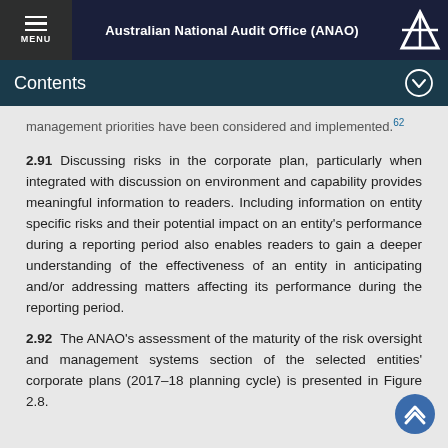Australian National Audit Office (ANAO)
Contents
management priorities have been considered and implemented.62
2.91    Discussing risks in the corporate plan, particularly when integrated with discussion on environment and capability provides meaningful information to readers. Including information on entity specific risks and their potential impact on an entity's performance during a reporting period also enables readers to gain a deeper understanding of the effectiveness of an entity in anticipating and/or addressing matters affecting its performance during the reporting period.
2.92    The ANAO's assessment of the maturity of the risk oversight and management systems section of the selected entities' corporate plans (2017–18 planning cycle) is presented in Figure 2.8.